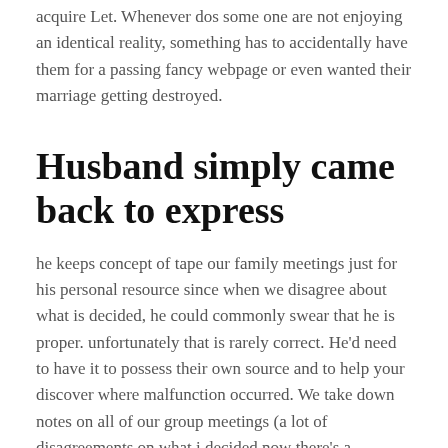acquire Let. Whenever dos some one are not enjoying an identical reality, something has to accidentally have them for a passing fancy webpage or even wanted their marriage getting destroyed.
Husband simply came back to express
he keeps concept of tape our family meetings just for his personal resource since when we disagree about what is decided, he could commonly swear that he is proper. unfortunately that is rarely correct. He'd need to have it to possess their own source and to help your discover where malfunction occurred. We take down notes on all of our group meetings (a lot of disagreements on what i decided now there's a composed record), very he always complements what is on paper In his direct the guy nevertheless kinda believes something different are said or he could be interested in learning just how he got their imagine if that